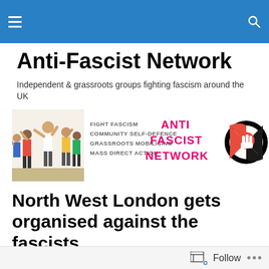Anti-Fascist Network navigation bar
Anti-Fascist Network
Independent & grassroots groups fighting fascism around the UK
[Figure (logo): Anti-Fascist Network banner with illustrated crowd, text 'FIGHT FASCISM COMMUNITY SELF-DEFENCE GRASSROOTS MOBILISING MASS DIRECT ACTION', pink 'ANTI FASCIST NETWORK' text, and circular antifa logo]
North West London gets organised against the fascists
[Figure (infographic): Magenta/pink banner with white bold uppercase text reading 'RACIST THUGS']
Follow ...